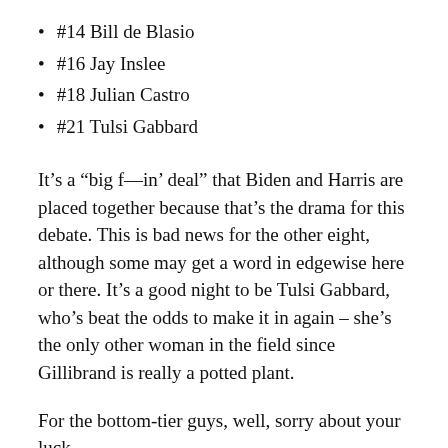#14 Bill de Blasio
#16 Jay Inslee
#18 Julian Castro
#21 Tulsi Gabbard
It’s a “big f—in’ deal” that Biden and Harris are placed together because that’s the drama for this debate. This is bad news for the other eight, although some may get a word in edgewise here or there. It’s a good night to be Tulsi Gabbard, who’s beat the odds to make it in again – she’s the only other woman in the field since Gillibrand is really a potted plant.
For the bottom-tier guys, well, sorry about your luck.